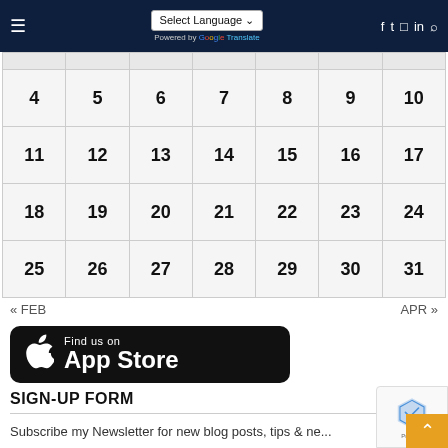Select Language | Social icons: Facebook, Twitter, Instagram, LinkedIn, Search
|  |  |  |  |  |  |  |
| 4 | 5 | 6 | 7 | 8 | 9 | 10 |
| 11 | 12 | 13 | 14 | 15 | 16 | 17 |
| 18 | 19 | 20 | 21 | 22 | 23 | 24 |
| 25 | 26 | 27 | 28 | 29 | 30 | 31 |
« FEB    APR »
[Figure (logo): Find us on App Store badge with Apple logo]
SIGN-UP FORM
Subscribe my Newsletter for new blog posts, tips & ne...